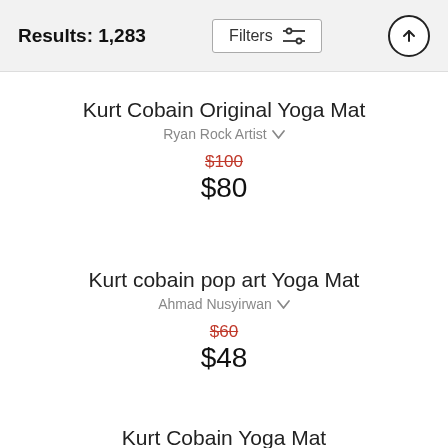Results: 1,283
Kurt Cobain Original Yoga Mat | Ryan Rock Artist | $100 (crossed out) $80
Kurt cobain pop art Yoga Mat | Ahmad Nusyirwan | $60 (crossed out) $48
Kurt Cobain Yoga Mat